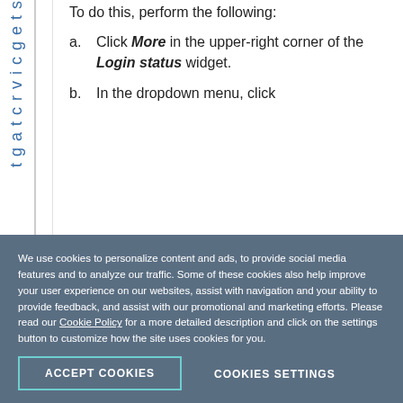To do this, perform the following:
a. Click More in the upper-right corner of the Login status widget.
b. In the dropdown menu, click
We use cookies to personalize content and ads, to provide social media features and to analyze our traffic. Some of these cookies also help improve your user experience on our websites, assist with navigation and your ability to provide feedback, and assist with our promotional and marketing efforts. Please read our Cookie Policy for a more detailed description and click on the settings button to customize how the site uses cookies for you.
ACCEPT COOKIES
COOKIES SETTINGS